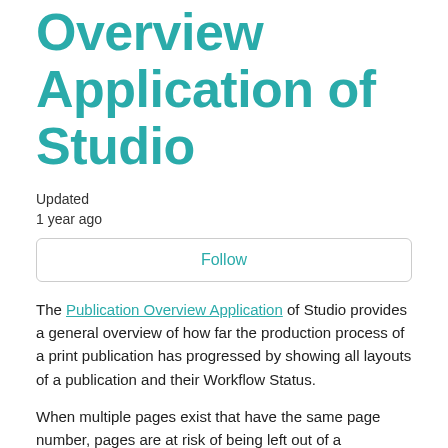Overview Application of Studio
Updated
1 year ago
Follow
The Publication Overview Application of Studio provides a general overview of how far the production process of a print publication has progressed by showing all layouts of a publication and their Workflow Status.
When multiple pages exist that have the same page number, pages are at risk of being left out of a publication. This is because only one page can be included for each page number.